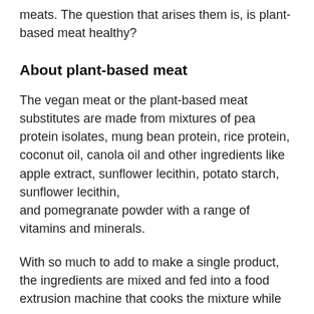meats. The question that arises them is, is plant-based meat healthy?
About plant-based meat
The vegan meat or the plant-based meat substitutes are made from mixtures of pea protein isolates, mung bean protein, rice protein, coconut oil, canola oil and other ingredients like apple extract, sunflower lecithin, potato starch, sunflower lecithin, and pomegranate powder with a range of vitamins and minerals.
With so much to add to make a single product, the ingredients are mixed and fed into a food extrusion machine that cooks the mixture while